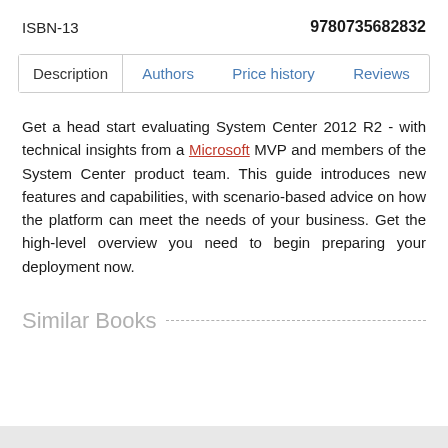ISBN-13    9780735682832
Description | Authors | Price history | Reviews
Get a head start evaluating System Center 2012 R2 - with technical insights from a Microsoft MVP and members of the System Center product team. This guide introduces new features and capabilities, with scenario-based advice on how the platform can meet the needs of your business. Get the high-level overview you need to begin preparing your deployment now.
Similar Books